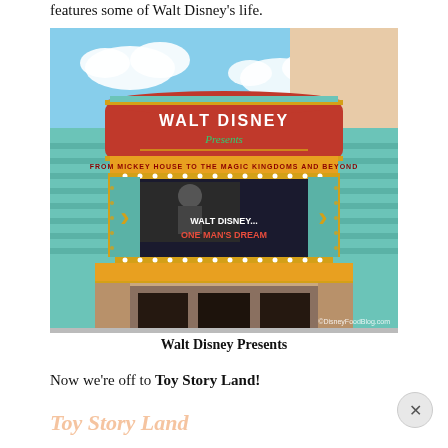features some of Walt Disney's life.
[Figure (photo): Photo of the Walt Disney Presents attraction building at Disney's Hollywood Studios. The facade shows a teal and gold Art Deco style marquee reading 'Walt Disney Presents' with a subtitle 'FROM MICKEY MOUSE TO THE MAGIC KINGDOMS AND BEYOND'. A marquee board shows a black and white photo of Walt Disney with text 'WALT DISNEY... ONE MAN'S DREAM' in white and red letters. The watermark '©DisneyFoodBlog.com' appears in the lower right corner.]
Walt Disney Presents
Now we're off to Toy Story Land!
Toy Story Land